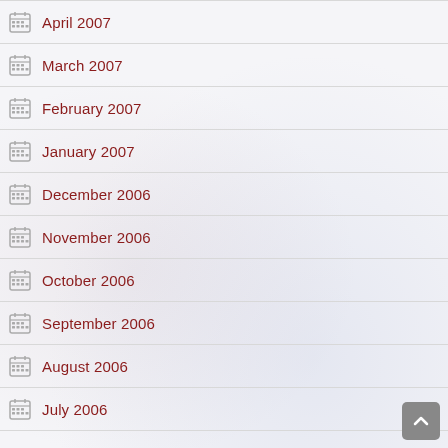April 2007
March 2007
February 2007
January 2007
December 2006
November 2006
October 2006
September 2006
August 2006
July 2006